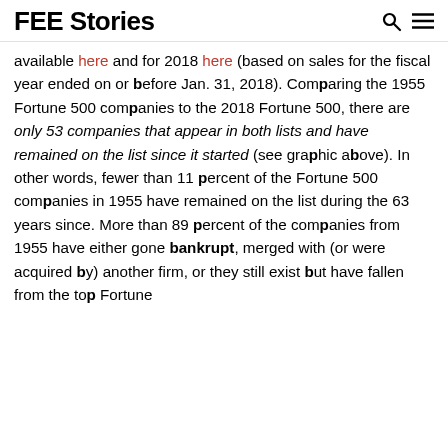FEE Stories
available here and for 2018 here (based on sales for the fiscal year ended on or before Jan. 31, 2018). Comparing the 1955 Fortune 500 companies to the 2018 Fortune 500, there are only 53 companies that appear in both lists and have remained on the list since it started (see graphic above). In other words, fewer than 11 percent of the Fortune 500 companies in 1955 have remained on the list during the 63 years since. More than 89 percent of the companies from 1955 have either gone bankrupt, merged with (or were acquired by) another firm, or they still exist but have fallen from the top Fortune